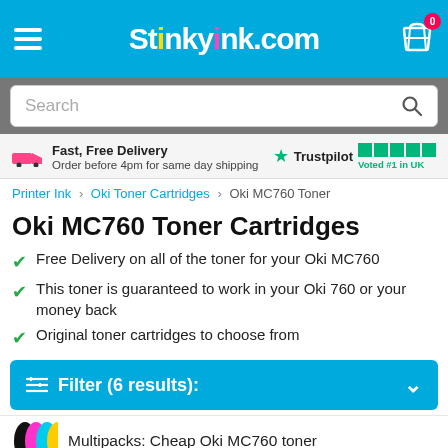StinkyInk.com
Search
Fast, Free Delivery
Order before 4pm for same day shipping
Trustpilot
Voted #1 in UK
Printer Ink > Oki Toner Cartridges > Oki MC760 Toner
Oki MC760 Toner Cartridges
Free Delivery on all of the toner for your Oki MC760
This toner is guaranteed to work in your Oki 760 or your money back
Original toner cartridges to choose from
Filter (6 results):
Multipacks: Cheap Oki MC760 toner